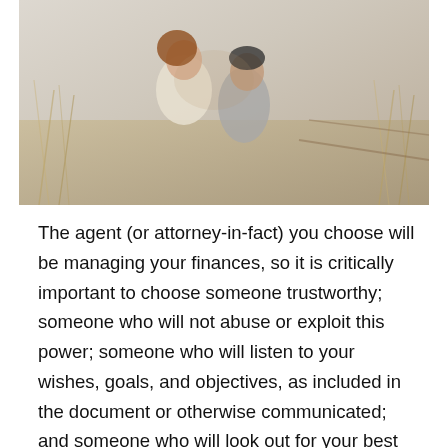[Figure (photo): A young couple sitting outdoors in a field of dry golden grass, laughing and leaning toward each other. The woman has long reddish hair and wears a cream sweater; the man wears a grey shirt.]
The agent (or attorney-in-fact) you choose will be managing your finances, so it is critically important to choose someone trustworthy; someone who will not abuse or exploit this power; someone who will listen to your wishes, goals, and objectives, as included in the document or otherwise communicated; and someone who will look out for your best